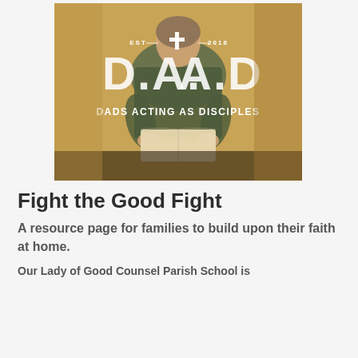[Figure (photo): A man in a plaid shirt reading a book/bible, with overlaid text showing 'EST 2018', a cross symbol, large letters 'D.A.A.D', and subtitle 'DADS ACTING AS DISCIPLES' on a warm amber/golden background]
Fight the Good Fight
A resource page for families to build upon their faith at home.
Our Lady of Good Counsel Parish School is